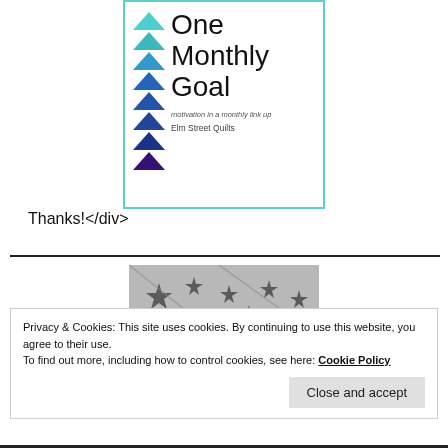[Figure (logo): One Monthly Goal badge with blue triangles on the left side in gradient shades and text 'One Monthly Goal' with subtitle 'motivation in a monthly link up' and 'Elm Street Quilts' below, enclosed in a light blue border.]
Thanks!</div>
[Figure (photo): Partial photo showing fabric or paper with star patterns in gray and black tones.]
Privacy & Cookies: This site uses cookies. By continuing to use this website, you agree to their use.
To find out more, including how to control cookies, see here: Cookie Policy
Close and accept